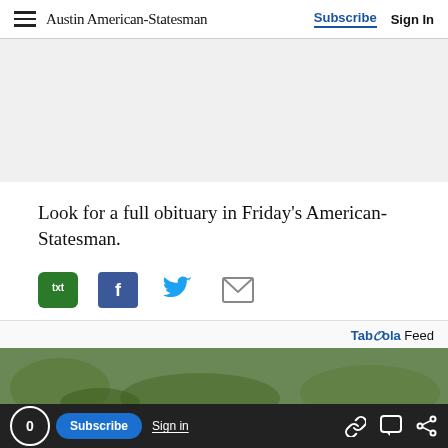Austin American-Statesman — Subscribe | Sign In
[Figure (other): Advertisement placeholder block, light gray background]
Look for a full obituary in Friday's American-Statesman.
[Figure (other): Social sharing icons: SMS (txt), Facebook, Twitter, Email]
Taboola Feed
[Figure (photo): Outdoor photo with trees/greenery at bottom of page]
0 Subscribe | Sign in